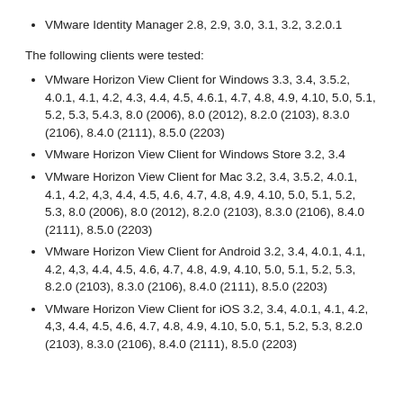VMware Identity Manager 2.8, 2.9, 3.0, 3.1, 3.2, 3.2.0.1
The following clients were tested:
VMware Horizon View Client for Windows 3.3, 3.4, 3.5.2, 4.0.1, 4.1, 4.2, 4.3, 4.4, 4.5, 4.6.1, 4.7, 4.8, 4.9, 4.10, 5.0, 5.1, 5.2, 5.3, 5.4.3, 8.0 (2006), 8.0 (2012), 8.2.0 (2103), 8.3.0 (2106), 8.4.0 (2111), 8.5.0 (2203)
VMware Horizon View Client for Windows Store 3.2, 3.4
VMware Horizon View Client for Mac 3.2, 3.4, 3.5.2, 4.0.1, 4.1, 4.2, 4,3, 4.4, 4.5, 4.6, 4.7, 4.8, 4.9, 4.10, 5.0, 5.1, 5.2, 5.3, 8.0 (2006), 8.0 (2012), 8.2.0 (2103), 8.3.0 (2106), 8.4.0 (2111), 8.5.0 (2203)
VMware Horizon View Client for Android 3.2, 3.4, 4.0.1, 4.1, 4.2, 4,3, 4.4, 4.5, 4.6, 4.7, 4.8, 4.9, 4.10, 5.0, 5.1, 5.2, 5.3, 8.2.0 (2103), 8.3.0 (2106), 8.4.0 (2111), 8.5.0 (2203)
VMware Horizon View Client for iOS 3.2, 3.4, 4.0.1, 4.1, 4.2, 4,3, 4.4, 4.5, 4.6, 4.7, 4.8, 4.9, 4.10, 5.0, 5.1, 5.2, 5.3, 8.2.0 (2103), 8.3.0 (2106), 8.4.0 (2111), 8.5.0 (2203)